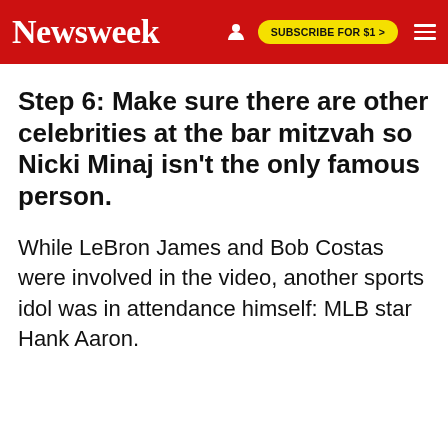Newsweek | SUBSCRIBE FOR $1 >
Step 6: Make sure there are other celebrities at the bar mitzvah so Nicki Minaj isn't the only famous person.
While LeBron James and Bob Costas were involved in the video, another sports idol was in attendance himself: MLB star Hank Aaron.